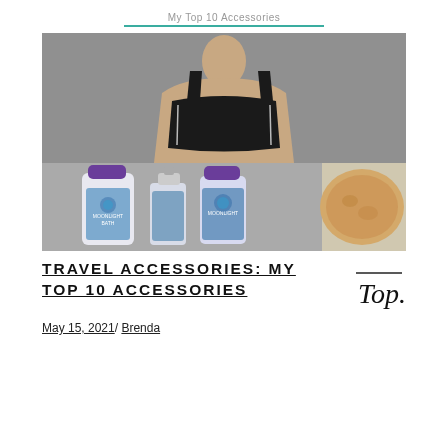My Top 10 Accessories
[Figure (photo): Collage image showing a black sports bra on a mannequin torso (upper half) and Bath & Body Works Moonlight Path body lotion, mist, and shower gel bottles alongside a round soap bar (lower half)]
TRAVEL ACCESSORIES: MY TOP 10 ACCESSORIES
May 15, 2021/ Brenda